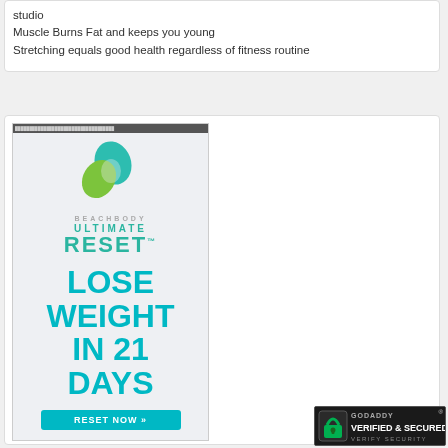studio
Muscle Burns Fat and keeps you young
Stretching equals good health regardless of fitness routine
[Figure (advertisement): Beachbody Ultimate Reset advertisement with logo, text 'LOSE WEIGHT IN 21 DAYS' and 'RESET NOW' button]
[Figure (logo): GoDaddy Verified & Secured seal with lock icon and 'VERIFY SECURITY' text]